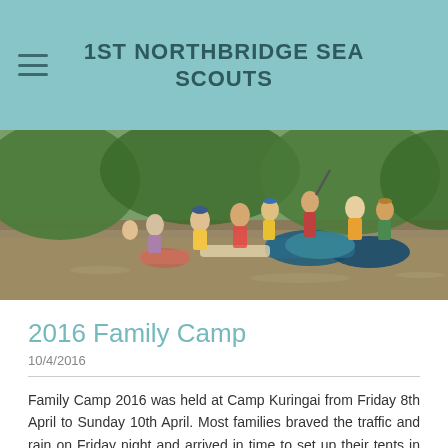1ST NORTHBRIDGE SEA SCOUTS
[Figure (photo): Children and adults in life jackets on a river, working with rafts made of barrels and planks, with trees in the background.]
2016 Family Camp
10/4/2016
Family Camp 2016 was held at Camp Kuringai from Friday 8th April to Sunday 10th April. Most families braved the traffic and rain on Friday night and arrived in time to set up their tents in the dark ( but luckily the rain had subsided).
They Saturday...